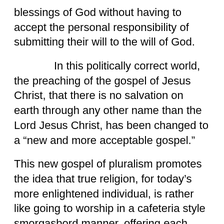blessings of God without having to accept the personal responsibility of submitting their will to the will of God.
In this politically correct world, the preaching of the gospel of Jesus Christ, that there is no salvation on earth through any other name than the Lord Jesus Christ, has been changed to a “new and more acceptable gospel.”
This new gospel of pluralism promotes the idea that true religion, for today’s more enlightened individual, is rather like going to worship in a cafeteria style smorgasbord manner, offering each ‘seeker’ a more equal, fair, and all inclusive menu from which to choose – a little Buddhism, a little Islamism, a little Hinduism, Paganism, a bit of ‘religious Christianity,’ Chrislamism, or even Noneism (Atheism). However, none of these religions provide for forgiveness of sin; they are